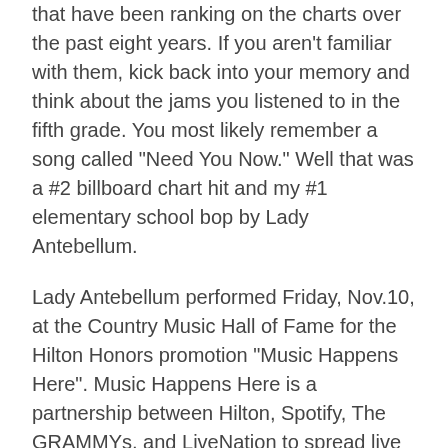that have been ranking on the charts over the past eight years. If you aren't familiar with them, kick back into your memory and think about the jams you listened to in the fifth grade. You most likely remember a song called "Need You Now." Well that was a #2 billboard chart hit and my #1 elementary school bop by Lady Antebellum.
Lady Antebellum performed Friday, Nov.10, at the Country Music Hall of Fame for the Hilton Honors promotion "Music Happens Here". Music Happens Here is a partnership between Hilton, Spotify, The GRAMMYs, and LiveNation to spread live music performances and traveling opportunities to Honors members. Hilton Honors is a benefits program available to people who book through Hilton. Nashville is only one of the cities that Music Happens Here has as a destination with London, Los